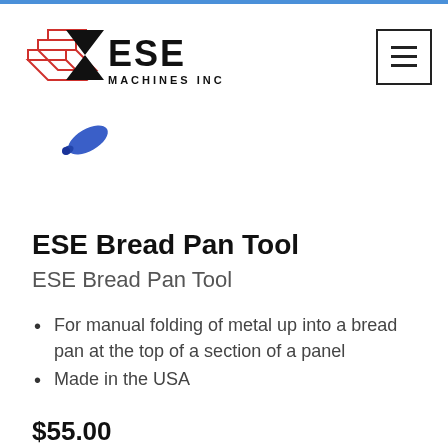[Figure (logo): ESE Machines Inc logo with red geometric shapes and bold black text]
[Figure (illustration): Small blue pencil/tool icon]
ESE Bread Pan Tool
ESE Bread Pan Tool
For manual folding of metal up into a bread pan at the top of a section of a panel
Made in the USA
$55.00